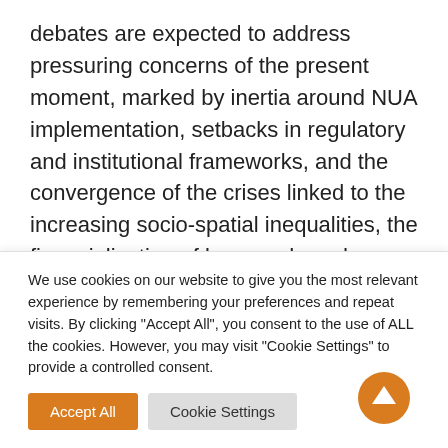debates are expected to address pressuring concerns of the present moment, marked by inertia around NUA implementation, setbacks in regulatory and institutional frameworks, and the convergence of the crises linked to the increasing socio-spatial inequalities, the financialization of key goods and services and the climate emergency.
Citati...
We use cookies on our website to give you the most relevant experience by remembering your preferences and repeat visits. By clicking "Accept All", you consent to the use of ALL the cookies. However, you may visit "Cookie Settings" to provide a controlled consent.